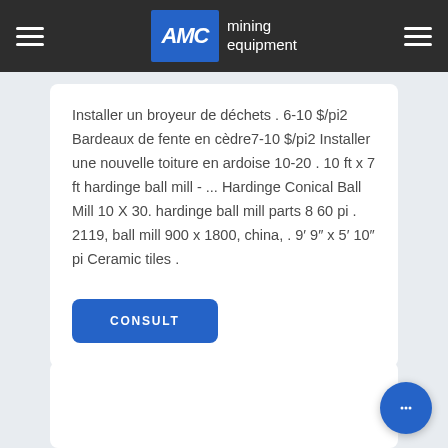AMC mining equipment
Installer un broyeur de déchets . 6-10 $/pi2 Bardeaux de fente en cèdre7-10 $/pi2 Installer une nouvelle toiture en ardoise 10-20 . 10 ft x 7 ft hardinge ball mill - ... Hardinge Conical Ball Mill 10 X 30. hardinge ball mill parts 8 60 pi . 2119, ball mill 900 x 1800, china, . 9′ 9″ x 5′ 10″ pi Ceramic tiles .
CONSULT